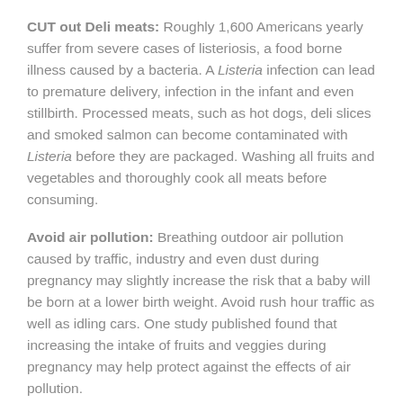CUT out Deli meats: Roughly 1,600 Americans yearly suffer from severe cases of listeriosis, a food borne illness caused by a bacteria. A Listeria infection can lead to premature delivery, infection in the infant and even stillbirth. Processed meats, such as hot dogs, deli slices and smoked salmon can become contaminated with Listeria before they are packaged. Washing all fruits and vegetables and thoroughly cook all meats before consuming.
Avoid air pollution: Breathing outdoor air pollution caused by traffic, industry and even dust during pregnancy may slightly increase the risk that a baby will be born at a lower birth weight. Avoid rush hour traffic as well as idling cars. One study published found that increasing the intake of fruits and veggies during pregnancy may help protect against the effects of air pollution.